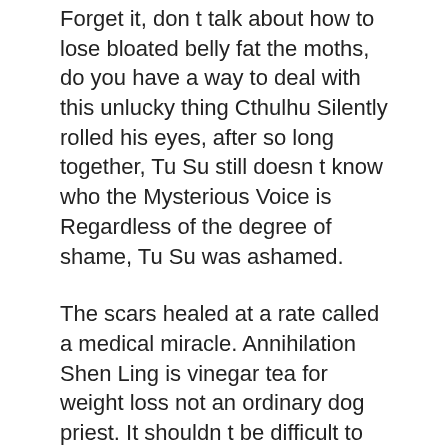Forget it, don t talk about how to lose bloated belly fat the moths, do you have a way to deal with this unlucky thing Cthulhu Silently rolled his eyes, after so long together, Tu Su still doesn t know who the Mysterious Voice is Regardless of the degree of shame, Tu Su was ashamed.
The scars healed at a rate called a medical miracle. Annihilation Shen Ling is vinegar tea for weight loss not an ordinary dog priest. It shouldn t be difficult to throw it into another world to be a necromancer.
Hello, Wilka. It seemed that 30 day slim down workout it was raining, the room was very humid, and the owner of the voice carried a rotten smell mixed with roots and earth.
Back then, I was also trained to torture someone in the